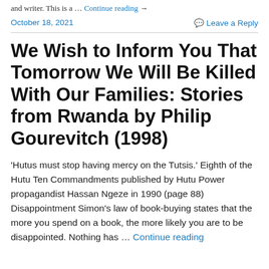and writer. This is a … Continue reading →
October 18, 2021    Leave a Reply
We Wish to Inform You That Tomorrow We Will Be Killed With Our Families: Stories from Rwanda by Philip Gourevitch (1998)
'Hutus must stop having mercy on the Tutsis.' Eighth of the Hutu Ten Commandments published by Hutu Power propagandist Hassan Ngeze in 1990 (page 88) Disappointment Simon's law of book-buying states that the more you spend on a book, the more likely you are to be disappointed. Nothing has … Continue reading